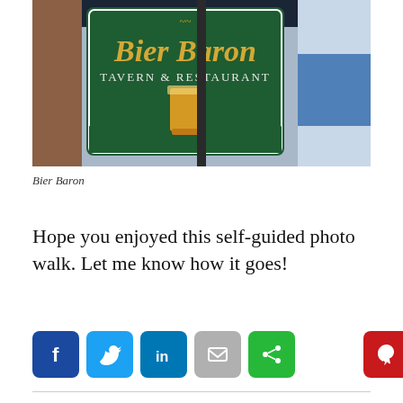[Figure (photo): Outdoor sign for Bier Baron Tavern & Restaurant, a green wooden sign with gold lettering and a beer glass illustration, mounted on a pole with buildings and blue awning in background.]
Bier Baron
Hope you enjoyed this self-guided photo walk. Let me know how it goes!
[Figure (infographic): Social media share buttons: Facebook (blue), Twitter (blue), LinkedIn (blue), Email (grey), Share (green), Pinterest (red)]